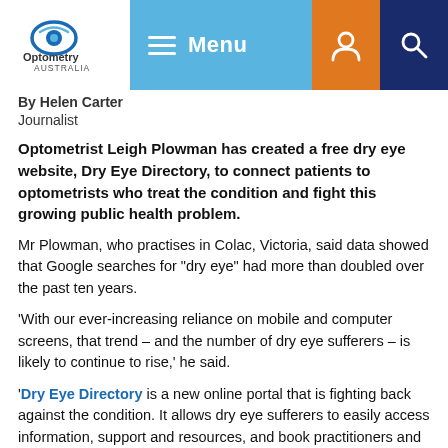Optometry Australia — Menu navigation bar with logo, account and search icons
By Helen Carter
Journalist
Optometrist Leigh Plowman has created a free dry eye website, Dry Eye Directory, to connect patients to optometrists who treat the condition and fight this growing public health problem.
Mr Plowman, who practises in Colac, Victoria, said data showed that Google searches for "dry eye" had more than doubled over the past ten years.
'With our ever-increasing reliance on mobile and computer screens, that trend – and the number of dry eye sufferers – is likely to continue to rise,' he said.
'Dry Eye Directory is a new online portal that is fighting back against the condition. It allows dry eye sufferers to easily access information, support and resources, and book practitioners and treatments in their area.'